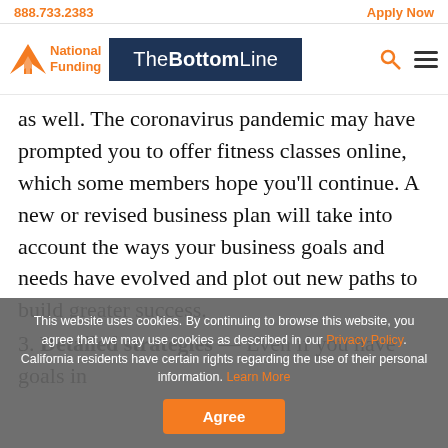888.733.2383    Apply Now
[Figure (logo): National Funding logo with orange arrow and text, next to 'TheBottomLine' banner in dark navy blue, with search and menu icons on right]
as well. The coronavirus pandemic may have prompted you to offer fitness classes online, which some members hope you'll continue. A new or revised business plan will take into account the ways your business goals and needs have evolved and plot out new paths to build greater success.
3. Detailed strategies — Even if you have goals in
This website uses cookies. By continuing to browse this website, you agree that we may use cookies as described in our Privacy Policy. California residents have certain rights regarding the use of their personal information. Learn More